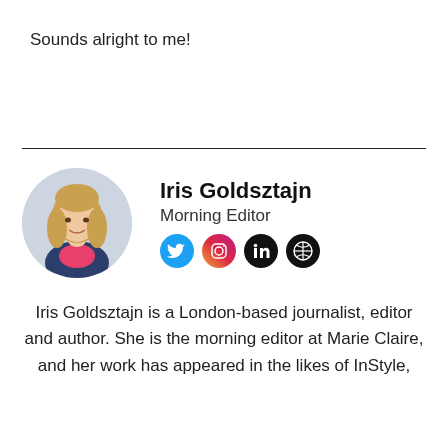Sounds alright to me!
[Figure (photo): Circular profile photo of Iris Goldsztajn, a woman with long blonde hair wearing a dark jacket and pink top, against a light background]
Iris Goldsztajn
Morning Editor
[Figure (other): Social media icons: Twitter (blue), Instagram (gradient pink/orange), LinkedIn (black), Globe/website (black)]
Iris Goldsztajn is a London-based journalist, editor and author. She is the morning editor at Marie Claire, and her work has appeared in the likes of InStyle,